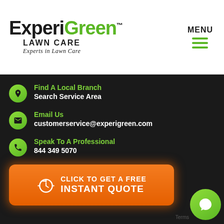[Figure (logo): ExperiGreen Lawn Care logo with green and black text, tagline 'Experts in Lawn Care']
MENU
Find A Local Branch
Search Service Area
Email Us
customerservice@experigreen.com
Speak To A Professional
844 349 5070
[Figure (infographic): Orange button with clock icon: CLICK TO GET A FREE INSTANT QUOTE]
[Figure (illustration): Green chat bubble icon in bottom right corner]
Terms